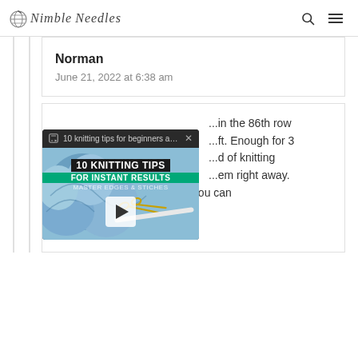Nimble Needles
Norman
June 21, 2022 at 6:38 am
[Figure (screenshot): Video overlay for '10 knitting tips for beginners an...' showing yarn and scissors thumbnail with play button and green banner text '10 KNITTING TIPS FOR INSTANT RESULTS MASTER EDGES & STICHES']
...in the 86th row ...ft. Enough for 3 ...d of knitting ...em right away. The way to think of it is this: you can